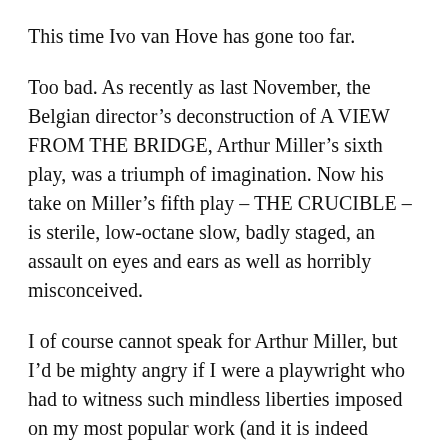This time Ivo van Hove has gone too far.
Too bad. As recently as last November, the Belgian director’s deconstruction of A VIEW FROM THE BRIDGE, Arthur Miller’s sixth play, was a triumph of imagination. Now his take on Miller’s fifth play – THE CRUCIBLE – is sterile, low-octane slow, badly staged, an assault on eyes and ears as well as horribly misconceived.
I of course cannot speak for Arthur Miller, but I’d be mighty angry if I were a playwright who had to witness such mindless liberties imposed on my most popular work (and it is indeed Miller’s, for it’s produced far more often than even DEATH OF A SALESMAN).
Fair warning: If you already have tickets, be sure to read the play in advance. Woe to all attendees who aren’t familiar with Miller’s 1953 masterpiece, for they’ll